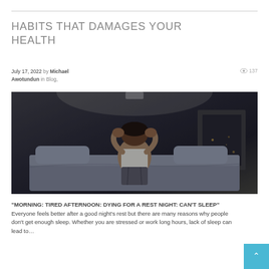HABITS THAT DAMAGES YOUR HEALTH
July 17, 2022 by Michael Awotundun in Blog,   137
[Figure (photo): Person sitting on a bed at night with head in hands, distressed, dark moody lighting]
“MORNING: TIRED AFTERNOON: DYING FOR A REST NIGHT: CAN’T SLEEP” Everyone feels better after a good night’s rest but there are many reasons why people don’t get enough sleep. Whether you are stressed or work long hours, lack of sleep can lead to…